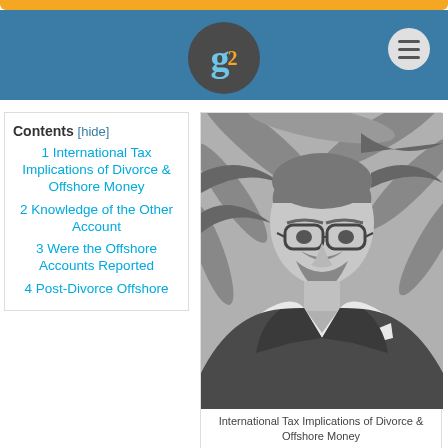g2 [logo]
Contents [hide]
1 International Tax Implications of Divorce & Offshore Money
2 Knowledge of the Other Account
3 Were the Offshore Accounts Reported
4 Post-Divorce Offshore
[Figure (photo): Black and white portrait photo of a man in a suit with glasses, outdoors against palm fronds background]
International Tax Implications of Divorce & Offshore Money